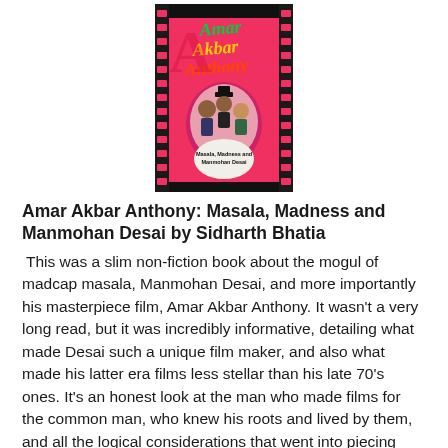[Figure (photo): Book cover of 'Amar Akbar Anthony: Masala, Madness and Manmohan Desai by Sidharth Bhatia'. The cover shows a film strip design on a pink/red background with the title in colorful text and three actors' faces in the center, with the subtitle 'Masala, Madness and Manmohan Desai' at the bottom.]
Amar Akbar Anthony: Masala, Madness and Manmohan Desai by Sidharth Bhatia
This was a slim non-fiction book about the mogul of madcap masala, Manmohan Desai, and more importantly his masterpiece film, Amar Akbar Anthony. It wasn't a very long read, but it was incredibly informative, detailing what made Desai such a unique film maker, and also what made his latter era films less stellar than his late 70's ones. It's an honest look at the man who made films for the common man, who knew his roots and lived by them, and all the logical considerations that went into piecing together this illogical masterpiece. For example, one thing I had no idea